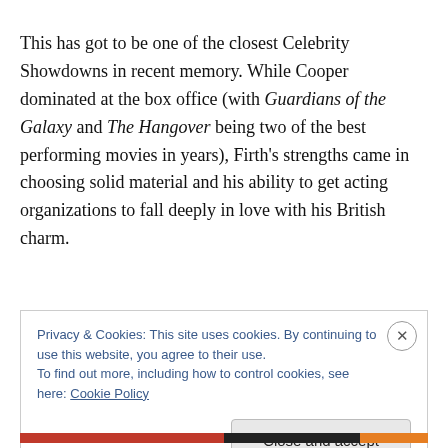This has got to be one of the closest Celebrity Showdowns in recent memory. While Cooper dominated at the box office (with Guardians of the Galaxy and The Hangover being two of the best performing movies in years), Firth's strengths came in choosing solid material and his ability to get acting organizations to fall deeply in love with his British charm.
Privacy & Cookies: This site uses cookies. By continuing to use this website, you agree to their use. To find out more, including how to control cookies, see here: Cookie Policy
Close and accept